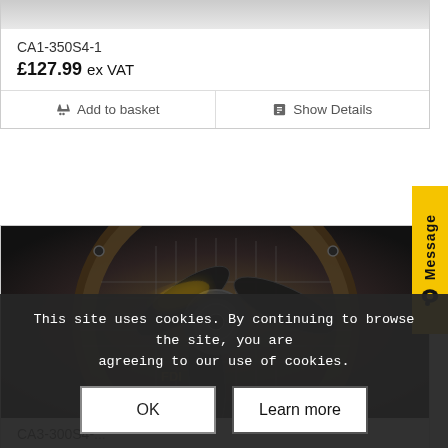CA1-350S4-1
£127.99 ex VAT
Add to basket
Show Details
[Figure (photo): Industrial axial fan with circular mounting flange, three blades, and metal guard grille, photographed at an angle showing the motor hub and blade assembly in dark metallic finish.]
CA3-300S4-...
£120.89 ex V...
Message
This site uses cookies. By continuing to browse the site, you are agreeing to our use of cookies.
OK
Learn more